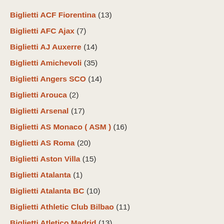Biglietti ACF Fiorentina (13)
Biglietti AFC Ajax (7)
Biglietti AJ Auxerre (14)
Biglietti Amichevoli (35)
Biglietti Angers SCO (14)
Biglietti Arouca (2)
Biglietti Arsenal (17)
Biglietti AS Monaco ( ASM ) (16)
Biglietti AS Roma (20)
Biglietti Aston Villa (15)
Biglietti Atalanta (1)
Biglietti Atalanta BC (10)
Biglietti Athletic Club Bilbao (11)
Biglietti Atletico Madrid (13)
Biglietti AZ Alkmaar (2)